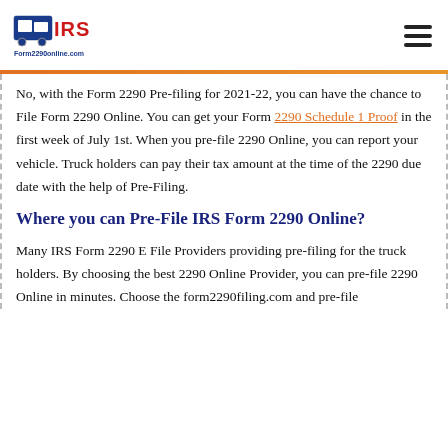[Figure (logo): IRS Form2290online.com logo with truck icon, IRS in red text, Form2290online.com in blue text below]
No, with the Form 2290 Pre-filing for 2021-22, you can have the chance to File Form 2290 Online. You can get your Form 2290 Schedule 1 Proof in the first week of July 1st. When you pre-file 2290 Online, you can report your vehicle. Truck holders can pay their tax amount at the time of the 2290 due date with the help of Pre-Filing.
Where you can Pre-File IRS Form 2290 Online?
Many IRS Form 2290 E File Providers providing pre-filing for the truck holders. By choosing the best 2290 Online Provider, you can pre-file 2290 Online in minutes. Choose the form2290filing.com and pre-file